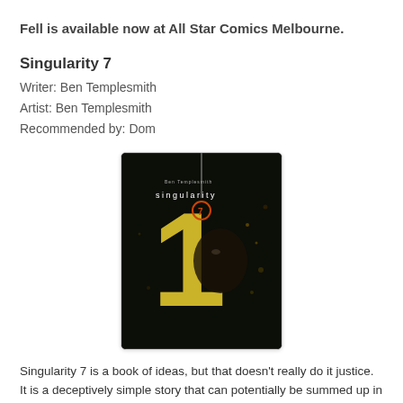Fell is available now at All Star Comics Melbourne.
Singularity 7
Writer: Ben Templesmith
Artist: Ben Templesmith
Recommended by: Dom
[Figure (photo): Comic book cover for Singularity 7 issue 1 by Ben Templesmith, featuring a dark background with a large glowing yellow number 1 and a figure's face partially visible, with the title 'singularity 7' in white text at the top.]
Singularity 7 is a book of ideas, but that doesn't really do it justice. It is a deceptively simple story that can potentially be summed up in a sentence but again, to do so would be a disservice to this story crafted by Ben Templesmith. It is set